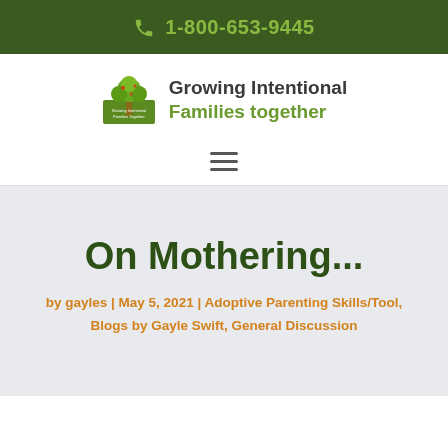1-800-653-9445
[Figure (logo): Growing Intentional Families Together logo with tree illustration]
Growing Intentional Families together
[Figure (other): Hamburger menu icon with three horizontal lines]
On Mothering...
by gayles | May 5, 2021 | Adoptive Parenting Skills/Tool, Blogs by Gayle Swift, General Discussion